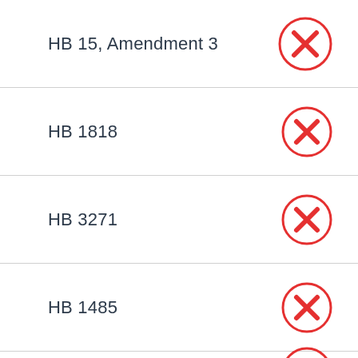HB 15, Amendment 3
HB 1818
HB 3271
HB 1485